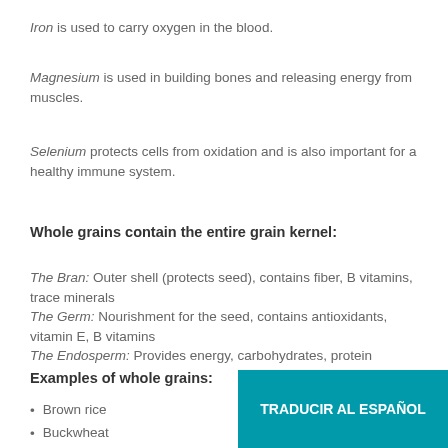Iron is used to carry oxygen in the blood.
Magnesium is used in building bones and releasing energy from muscles.
Selenium protects cells from oxidation and is also important for a healthy immune system.
Whole grains contain the entire grain kernel:
The Bran: Outer shell (protects seed), contains fiber, B vitamins, trace minerals
The Germ: Nourishment for the seed, contains antioxidants, vitamin E, B vitamins
The Endosperm: Provides energy, carbohydrates, protein
Examples of whole grains:
Brown rice
Buckwheat
TRADUCIR AL ESPAÑOL